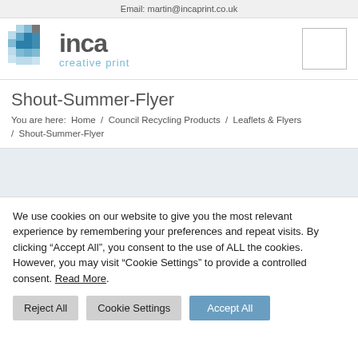Email: martin@incaprint.co.uk
[Figure (logo): Inca Creative Print logo with blue pixel-style graphic and 'inca creative print' text]
Shout-Summer-Flyer
You are here:  Home  /  Council Recycling Products  /  Leaflets & Flyers  /  Shout-Summer-Flyer
We use cookies on our website to give you the most relevant experience by remembering your preferences and repeat visits. By clicking “Accept All”, you consent to the use of ALL the cookies. However, you may visit "Cookie Settings" to provide a controlled consent. Read More.